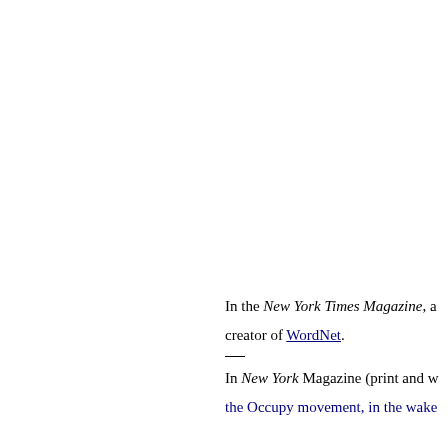In the New York Times Magazine, a creator of WordNet.
In New York Magazine (print and w the Occupy movement, in the wake